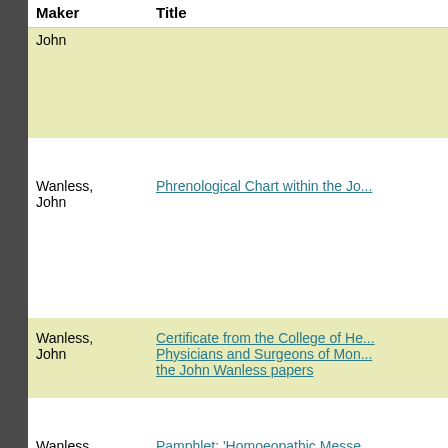| Maker | Title |
| --- | --- |
| John |  |
| Wanless, John | Phrenological Chart within the Jo... |
| Wanless, John | Certificate from the College of He... Physicians and Surgeons of Mon... the John Wanless papers |
| Wanless, John | Pamphlet: 'Homoeopathic Messe... John Wanless papers |
| Wanless, John | Letter within the John Wanless p... |